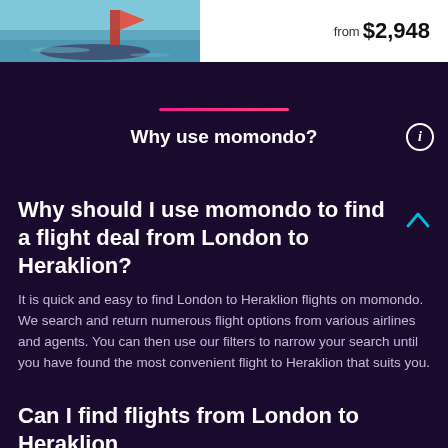[Figure (photo): Partial photo of a person on a boat on water with an orange object visible, cropped at top]
from $2,948
Why use momondo?
Why should I use momondo to find a flight deal from London to Heraklion?
It is quick and easy to find London to Heraklion flights on momondo. We search and return numerous flight options from various airlines and agents. You can then use our filters to narrow your search until you have found the most convenient flight to Heraklion that suits you.
Can I find flights from London to Heraklion